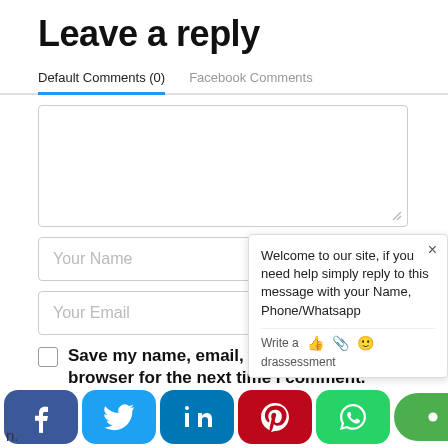Leave a reply
Default Comments (0)    Facebook Comments
[Figure (screenshot): Comment form with textarea, Your Name input, Your Email input, and a checkbox with label 'Save my name, email, and website in this browser for the next time I comment.']
[Figure (screenshot): Chat popup widget showing 'Welcome to our site, if you need help simply reply to this message with your Name, Phone/Whatsapp' with a close button and write/emoji input row at bottom, and 'drassessment' text]
[Figure (screenshot): Social sharing bar at bottom with Facebook, Twitter, LinkedIn, Pinterest, WhatsApp buttons and a green Chat button with red badge showing 1]